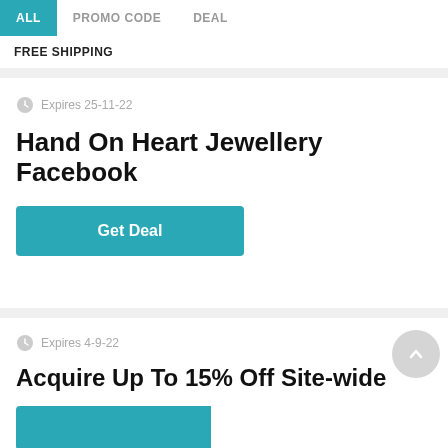ALL | PROMO CODE | DEAL
FREE SHIPPING
Expires 25-11-22
Hand On Heart Jewellery Facebook
Get Deal
Expires 4-9-22
Acquire Up To 15% Off Site-wide